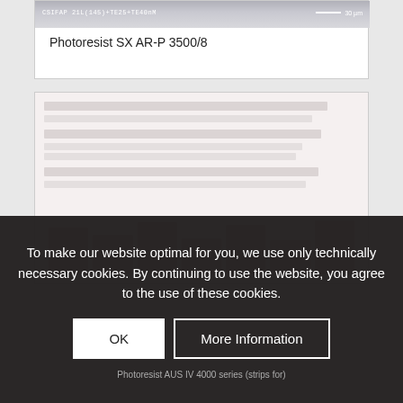[Figure (photo): Microscopy image of photoresist cross-section with scale bar showing approximately 30 µm. Label reads: CSIFAP 21L(145)+TE25+TE40nM]
Photoresist SX AR-P 3500/8
[Figure (screenshot): Faded/blurred screenshot of a data table with bar chart elements, partially visible behind cookie consent overlay]
To make our website optimal for you, we use only technically necessary cookies. By continuing to use the website, you agree to the use of these cookies.
OK
More Information
Photoresist AUS IV 4000 series (strips for)